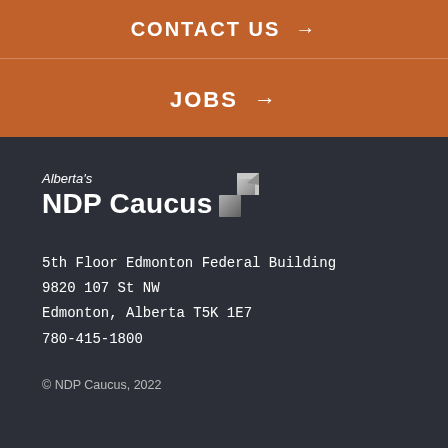CONTACT US →
JOBS →
[Figure (logo): Alberta's NDP Caucus logo with stylized geometric arrow icon in grey/silver tones on dark background]
5th Floor Edmonton Federal Building
9820 107 St NW
Edmonton, Alberta T5K 1E7
780-415-1800
© NDP Caucus, 2022